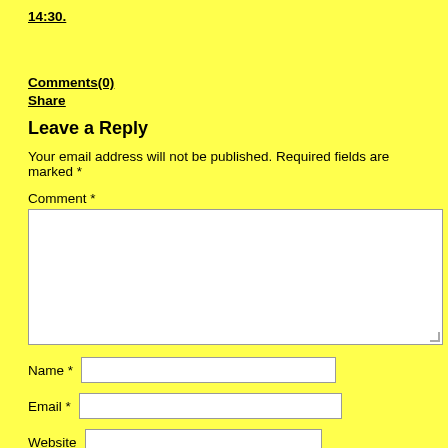14:30.
Comments(0)
Share
Leave a Reply
Your email address will not be published. Required fields are marked *
Comment *
[Figure (other): Comment text area input box (empty, white background)]
Name *
Email *
Website